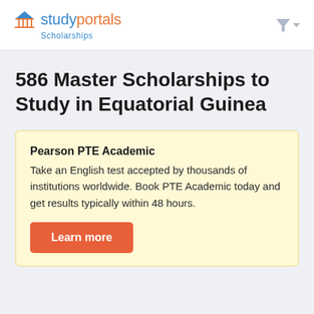studyportals Scholarships
586 Master Scholarships to Study in Equatorial Guinea
Pearson PTE Academic
Take an English test accepted by thousands of institutions worldwide. Book PTE Academic today and get results typically within 48 hours.
Learn more